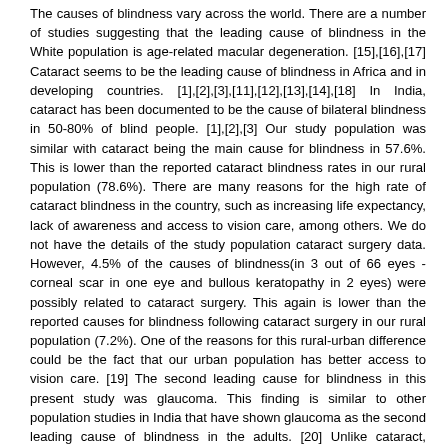The causes of blindness vary across the world. There are a number of studies suggesting that the leading cause of blindness in the White population is age-related macular degeneration. [15],[16],[17] Cataract seems to be the leading cause of blindness in Africa and in developing countries. [1],[2],[3],[11],[12],[13],[14],[18] In India, cataract has been documented to be the cause of bilateral blindness in 50-80% of blind people. [1],[2],[3] Our study population was similar with cataract being the main cause for blindness in 57.6%. This is lower than the reported cataract blindness rates in our rural population (78.6%). There are many reasons for the high rate of cataract blindness in the country, such as increasing life expectancy, lack of awareness and access to vision care, among others. We do not have the details of the study population cataract surgery data. However, 4.5% of the causes of blindness(in 3 out of 66 eyes - corneal scar in one eye and bullous keratopathy in 2 eyes) were possibly related to cataract surgery. This again is lower than the reported causes for blindness following cataract surgery in our rural population (7.2%). One of the reasons for this rural-urban difference could be the fact that our urban population has better access to vision care. [19] The second leading cause for blindness in this present study was glaucoma. This finding is similar to other population studies in India that have shown glaucoma as the second leading cause of blindness in the adults. [20] Unlike cataract, glaucoma results in irreversible blindness which can potentially be prevented if diagnosed early. The high rates of blindness due to glaucoma in India can be explained partially by the large proportion of undiagnosed disease in the population. In population-based studies across the country, more than 90% of glaucoma patients were diagnosed during the study examination. [20] The causes for poor detection rates were overdependence on intraocular pressure measurements to diagnose glaucoma and the lack of a comprehensive eye